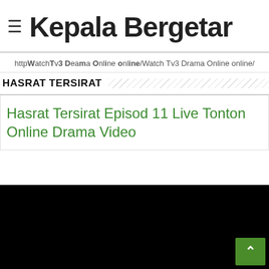≡  Kepala Bergetar
http WatchTv3Drama Online onl ine / Watch Tv3 Drama Online online /
HASRAT TERSIRAT
Hasrat Tersirat Episod 11 Live Tonton Online Drama Video
[Figure (other): Black video player area]